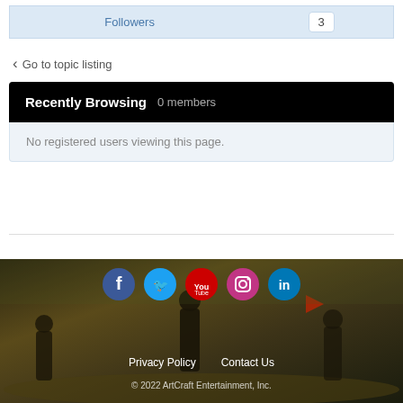| Followers | 3 |
| --- | --- |
Go to topic listing
Recently Browsing   0 members
No registered users viewing this page.
[Figure (infographic): Social media icons: Facebook, Twitter, YouTube, Instagram, LinkedIn]
Privacy Policy   Contact Us
© 2022 ArtCraft Entertainment, Inc.